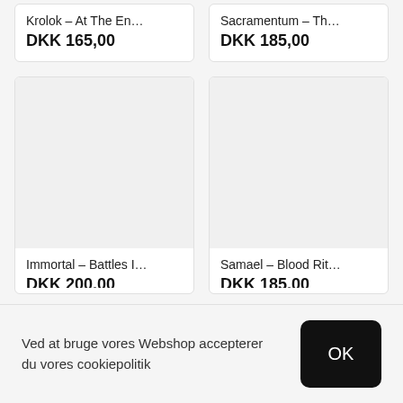Krolok – At The En…
DKK 165,00
Sacramentum – Th…
DKK 185,00
[Figure (other): Product card image placeholder for Immortal – Battles I…]
Immortal – Battles I…
DKK 200,00 (partially visible)
[Figure (other): Product card image placeholder for Samael – Blood Rit…]
Samael – Blood Rit…
DKK 185,00 (partially visible)
Ved at bruge vores Webshop accepterer du vores cookiepolitik